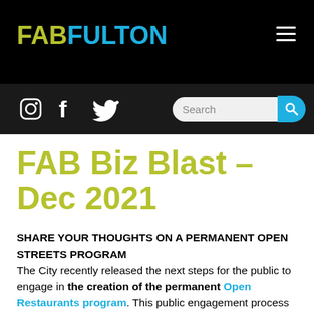FAB FULTON
[Figure (logo): FABFulton logo with FAB in yellow-green and FULTON in blue, on black background]
FAB Biz Blast – Dec 2021
SHARE YOUR THOUGHTS ON A PERMANENT OPEN STREETS PROGRAM
The City recently released the next steps for the public to engage in the creation of the permanent Open Restaurants program. This public engagement process is a collaboration between the Department of Transportation (DOT) and the Department of City